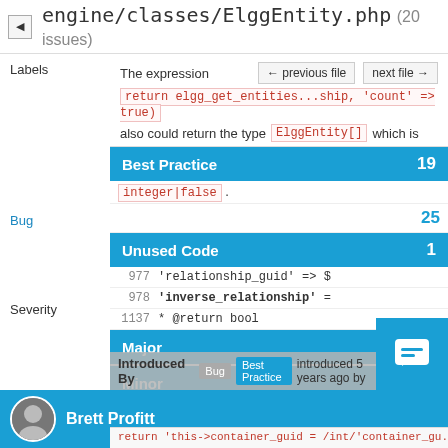engine/classes/ElggEntity.php (20 issues)
The expression
return elgg_get_entities...ship, 'count' => true)
also could return the type ElggEntity[] which is
Best Practice 19
integer|false .
Bug 25
Unused Code 1
977 'relationship_guid' => $
978 'inverse_relationship' =
1137 * @return bool
Major 19
Minor 1
Introduced By
Bug Best Practice introduced 5 years ago by
Brett Profitt